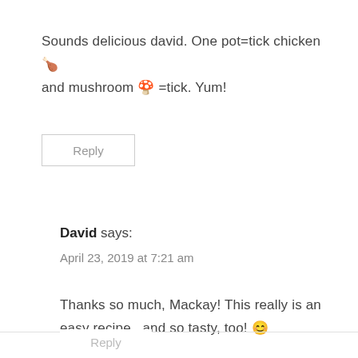Sounds delicious david. One pot=tick chicken 🍗 and mushroom 🍄 =tick. Yum!
Reply
David says:
April 23, 2019 at 7:21 am
Thanks so much, Mackay! This really is an easy recipe...and so tasty, too! 😊